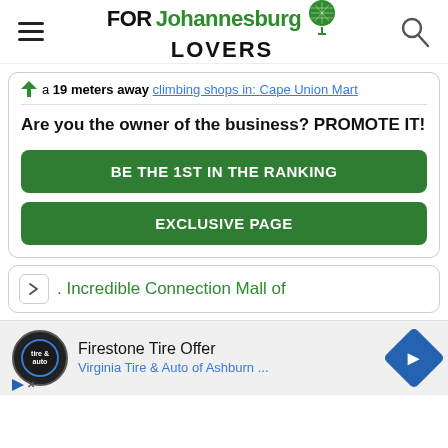FORJohannesburgLOVERS
a 19 meters away climbing shops in: Cape Union Mart
Are you the owner of the business? PROMOTE IT!
BE THE 1ST IN THE RANKING
EXCLUSIVE PAGE
. Incredible Connection Mall of
Firestone Tire Offer
Virginia Tire & Auto of Ashburn ...